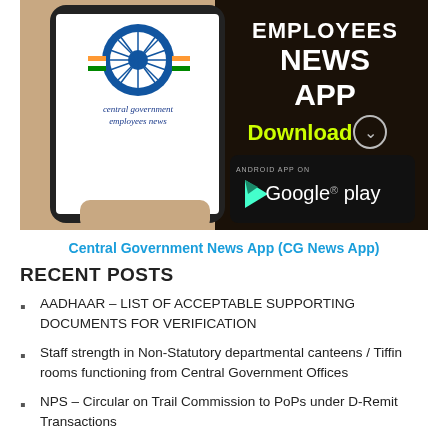[Figure (screenshot): Central Government Employees News App banner showing a hand holding a smartphone with the app logo and 'EMPLOYEES NEWS APP Download' text with Google Play badge]
Central Government News App (CG News App)
RECENT POSTS
AADHAAR – LIST OF ACCEPTABLE SUPPORTING DOCUMENTS FOR VERIFICATION
Staff strength in Non-Statutory departmental canteens / Tiffin rooms functioning from Central Government Offices
NPS – Circular on Trail Commission to PoPs under D-Remit Transactions